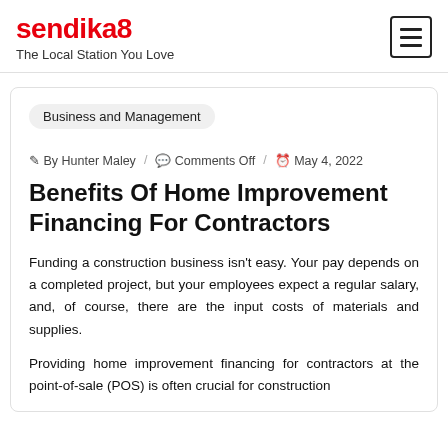sendika8 — The Local Station You Love
Business and Management
By Hunter Maley / Comments Off / May 4, 2022
Benefits Of Home Improvement Financing For Contractors
Funding a construction business isn't easy. Your pay depends on a completed project, but your employees expect a regular salary, and, of course, there are the input costs of materials and supplies.
Providing home improvement financing for contractors at the point-of-sale (POS) is often crucial for construction